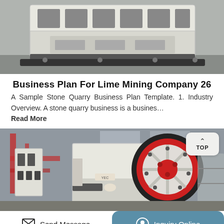[Figure (photo): Industrial stone crushing machine (jaw crusher) white and black, top portion shown on grey industrial floor]
Business Plan For Lime Mining Company 26
A Sample Stone Quarry Business Plan Template. 1. Industry Overview. A stone quarry business is a busines…
Read More
[Figure (photo): Industrial jaw crusher machine with large red and black flywheel, white body, multiple units in a factory setting with red steel structure in background]
Send Message   Inquiry Online